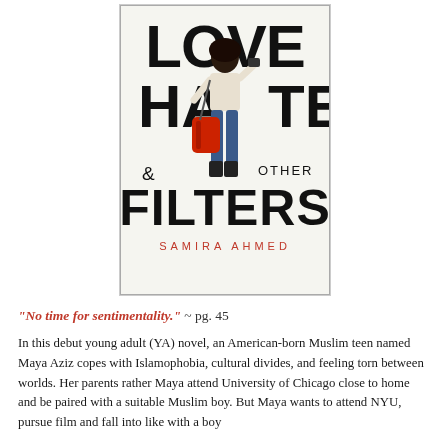[Figure (illustration): Book cover of 'Love Hate & Other Filters' by Samira Ahmed. Features large bold black text reading LOVE, HATE (with figure of a girl in between), & OTHER, FILTERS, and the author name SAMIRA AHMED in red spaced capitals. A young woman with dark hair holding a camera stands in the center, with a red backpack.]
"No time for sentimentality." ~ pg. 45
In this debut young adult (YA) novel, an American-born Muslim teen named Maya Aziz copes with Islamophobia, cultural divides, and feeling torn between worlds. Her parents rather Maya attend University of Chicago close to home and be paired with a suitable Muslim boy. But Maya wants to attend NYU, pursue film and fall into like with a boy